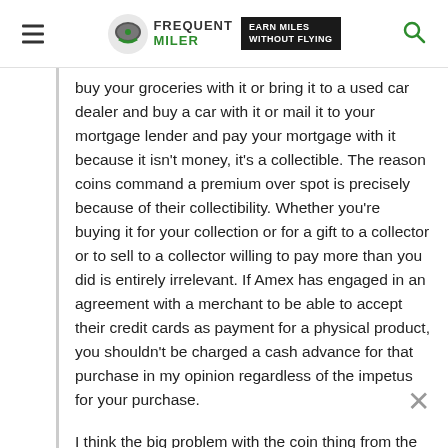Frequent Miler — Earn Miles Without Flying
buy your groceries with it or bring it to a used car dealer and buy a car with it or mail it to your mortgage lender and pay your mortgage with it because it isn't money, it's a collectible. The reason coins command a premium over spot is precisely because of their collectibility. Whether you're buying it for your collection or for a gift to a collector or to sell to a collector willing to pay more than you did is entirely irrelevant. If Amex has engaged in an agreement with a merchant to be able to accept their credit cards as payment for a physical product, you shouldn't be charged a cash advance for that purchase in my opinion regardless of the impetus for your purchase.
I think the big problem with the coin thing from the perspective you raise is that it is easy to mistakenly think of coins as money since there are also coins that are money. But in the case of collectible coins fro…